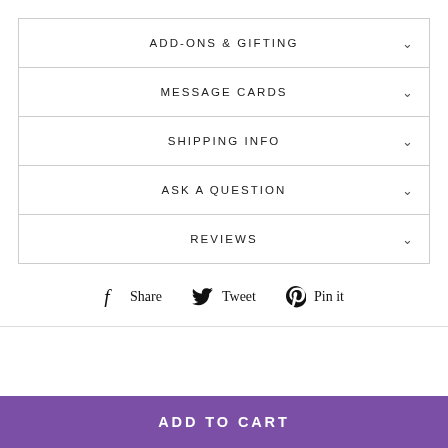ADD-ONS & GIFTING
MESSAGE CARDS
SHIPPING INFO
ASK A QUESTION
REVIEWS
Share  Tweet  Pin it
ADD TO CART